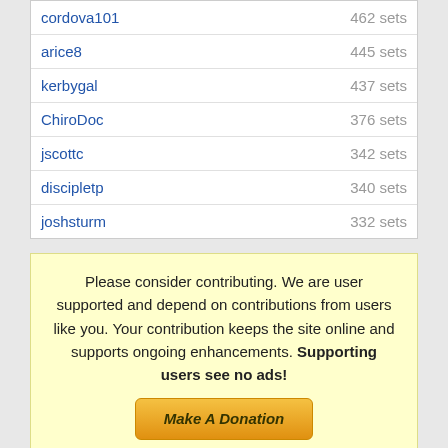| Username | Sets |
| --- | --- |
| cordova101 | 462 sets |
| arice8 | 445 sets |
| kerbygal | 437 sets |
| ChiroDoc | 376 sets |
| jscottc | 342 sets |
| discipletp | 340 sets |
| joshsturm | 332 sets |
Please consider contributing. We are user supported and depend on contributions from users like you. Your contribution keeps the site online and supports ongoing enhancements. Supporting users see no ads!
[Figure (other): Make A Donation button with orange gradient styling]
MY FLASHCARDS
FLASHCARD LIBRARY
BROWSE